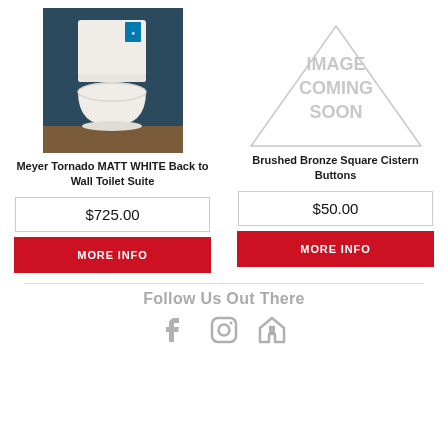[Figure (photo): Photo of Meyer Tornado MATT WHITE Back to Wall Toilet Suite against dark blue background]
[Figure (other): Image Coming Soon placeholder with grey triangle outline]
Meyer Tornado MATT WHITE Back to Wall Toilet Suite
Brushed Bronze Square Cistern Buttons
$725.00
$50.00
MORE INFO
MORE INFO
Follow Us Out There